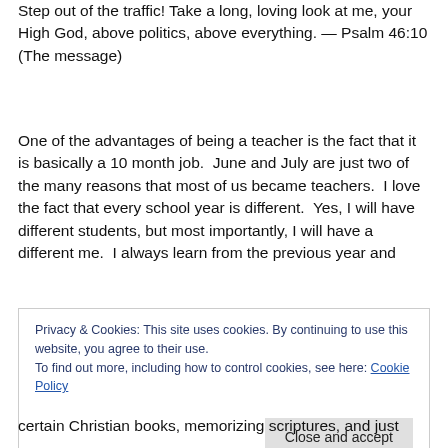Step out of the traffic! Take a long, loving look at me, your High God, above politics, above everything. — Psalm 46:10 (The message)
One of the advantages of being a teacher is the fact that it is basically a 10 month job.  June and July are just two of the many reasons that most of us became teachers.  I love the fact that every school year is different.  Yes, I will have different students, but most importantly, I will have a different me.  I always learn from the previous year and
Privacy & Cookies: This site uses cookies. By continuing to use this website, you agree to their use.
To find out more, including how to control cookies, see here: Cookie Policy
certain Christian books, memorizing scriptures, and just